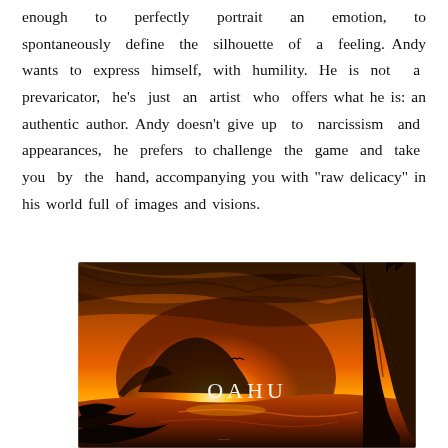enough to perfectly portrait an emotion, to spontaneously define the silhouette of a feeling. Andy wants to express himself, with humility. He is not a prevaricator, he's just an artist who offers what he is: an authentic author. Andy doesn't give up to narcissism and appearances, he prefers to challenge the game and take you by the hand, accompanying you with "raw delicacy" in his world full of images and visions.
[Figure (photo): Sunset landscape photo of Oahu, Hawaii, showing a dramatic orange and red sky with silhouetted rocky cliffs on the right, a mountain island in the background, and the ocean in the foreground. The word 'OAHU' appears in white text near the center.]
—